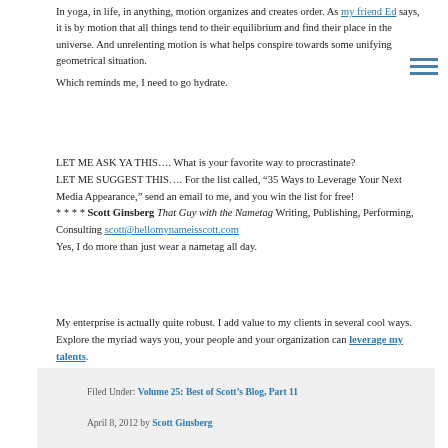In yoga, in life, in anything, motion organizes and creates order. As my friend Ed says, it is by motion that all things tend to their equilibrium and find their place in the universe. And unrelenting motion is what helps conspire towards some unifying geometrical situation.
Which reminds me, I need to go hydrate.
LET ME ASK YA THIS…. What is your favorite way to procrastinate?
LET ME SUGGEST THIS…. For the list called, “35 Ways to Leverage Your Next Media Appearance,” send an email to me, and you win the list for free!
* * * * Scott Ginsberg That Guy with the Nametag Writing, Publishing, Performing, Consulting scott@hellomynameisscott.com
Yes, I do more than just wear a nametag all day.
My enterprise is actually quite robust. I add value to my clients in several cool ways.
Explore the myriad ways you, your people and your organization can leverage my talents.
Filed Under: Volume 25: Best of Scott's Blog, Part 11
April 8, 2012 by Scott Ginsberg